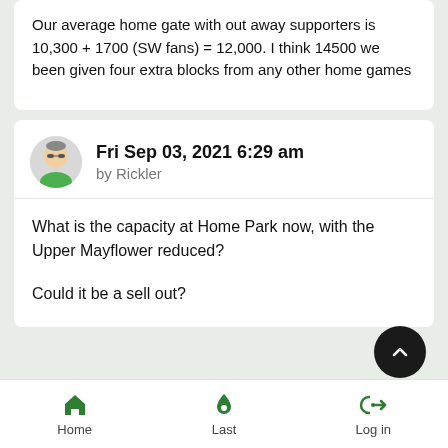Our average home gate with out away supporters is 10,300 + 1700 (SW fans) = 12,000. I think 14500 we been given four extra blocks from any other home games
Fri Sep 03, 2021 6:29 am
by Rickler
What is the capacity at Home Park now, with the Upper Mayflower reduced?

Could it be a sell out?
Home   Last   Log in